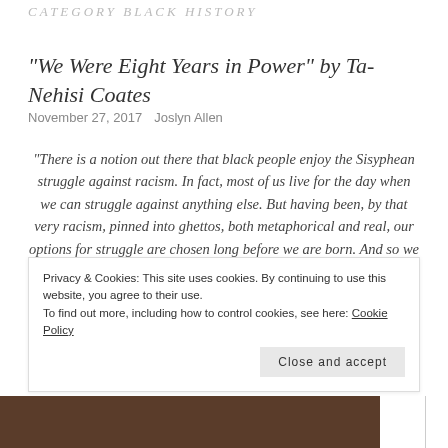CATEGORY BLACK HISTORY
“We Were Eight Years in Power” by Ta-Nehisi Coates
November 27, 2017   Joslyn Allen
“There is a notion out there that black people enjoy the Sisyphean struggle against racism. In fact, most of us live for the day when we can struggle against anything else. But having been, by that very racism, pinned into ghettos, both metaphorical and real, our options for struggle are chosen long before we are born. And so we struggle out of fear for our children We struggle out of fear for ourselves. We struggle to avoid our feelings, because to actually consider all that was
Privacy & Cookies: This site uses cookies. By continuing to use this website, you agree to their use.
To find out more, including how to control cookies, see here: Cookie Policy
Close and accept